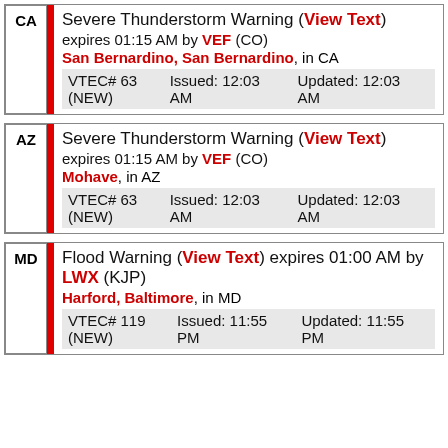CA | Severe Thunderstorm Warning (View Text) expires 01:15 AM by VEF (CO) San Bernardino, San Bernardino, in CA VTEC# 63 (NEW) Issued: 12:03 AM Updated: 12:03 AM
AZ | Severe Thunderstorm Warning (View Text) expires 01:15 AM by VEF (CO) Mohave, in AZ VTEC# 63 (NEW) Issued: 12:03 AM Updated: 12:03 AM
MD | Flood Warning (View Text) expires 01:00 AM by LWX (KJP) Harford, Baltimore, in MD VTEC# 119 (NEW) Issued: 11:55 PM Updated: 11:55 PM